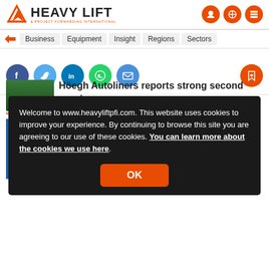HEAVY LIFT & PROJECT FORWARDING INTERNATIONAL
Business | Equipment | Insight | Regions | Sectors
[Figure (screenshot): Social share icons: Facebook, Twitter, LinkedIn, WhatsApp, Email, and bookmark button]
Welcome to www.heavyliftpfi.com. This website uses cookies to improve your experience. By continuing to browse this site you are agreeing to our use of these cookies. You can learn more about the cookies we use here.
OK
RE
Höegh Autoliners reports strong second quarter